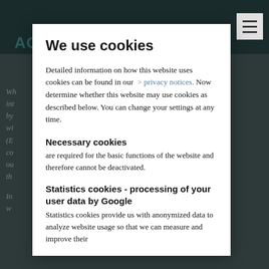AQUATIC POLLUTANTS
We use cookies
Detailed information on how this website uses cookies can be found in our  > privacy notices. Now determine whether this website may use cookies as described below. You can change your settings at any time.
Necessary cookies
are required for the basic functions of the website and therefore cannot be deactivated.
Statistics cookies - processing of your user data by Google
Statistics cookies provide us with anonymized data to analyze website usage so that we can measure and improve their